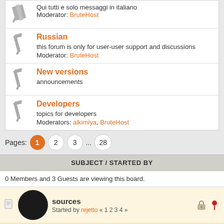Qui tutti e solo messaggi in italiano
Moderator: BruteHost
Russian
this forum is only for user-user support and discussions
Moderator: BruteHost
New versions
announcements
Developers
topics for developers
Moderators: alkimiya, BruteHost
Pages: 1 2 3 ... 28
SUBJECT / STARTED BY
0 Members and 3 Guests are viewing this board.
sources
Started by rejetto « 1 2 3 4 »
&RQ.NET Planning Thread
Started by alkimiya « 1 2 3 »